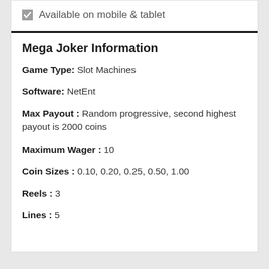Available on mobile & tablet
Mega Joker Information
Game Type: Slot Machines
Software: NetEnt
Max Payout : Random progressive, second highest payout is 2000 coins
Maximum Wager : 10
Coin Sizes : 0.10, 0.20, 0.25, 0.50, 1.00
Reels : 3
Lines : 5